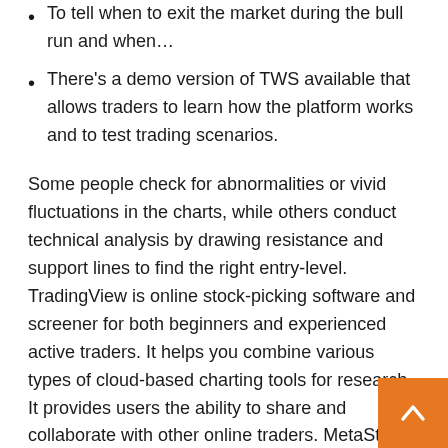To tell when to exit the market during the bull run and when…
There's a demo version of TWS available that allows traders to learn how the platform works and to test trading scenarios.
Some people check for abnormalities or vivid fluctuations in the charts, while others conduct technical analysis by drawing resistance and support lines to find the right entry-level. TradingView is online stock-picking software and screener for both beginners and experienced active traders. It helps you combine various types of cloud-based charting tools for research. It provides users the ability to share and collaborate with other online traders. MetaStock is another one of the longtime players in the technical analysis industry, having been founded in the late 1980s.